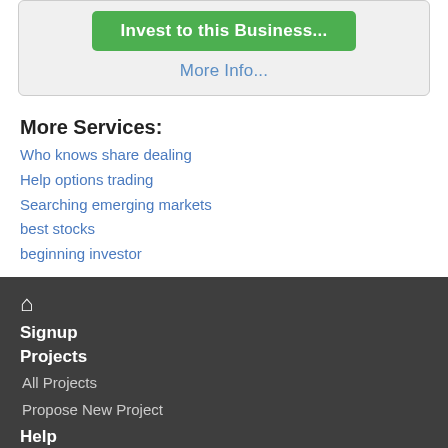Invest to this Business...
More Info...
More Services:
Who knows share dealing
Help options trading
Searching emerging markets
best stocks
beginning investor
🏠
Signup
Projects
All Projects
Propose New Project
Help
FAQs
Contact Us
Partnership